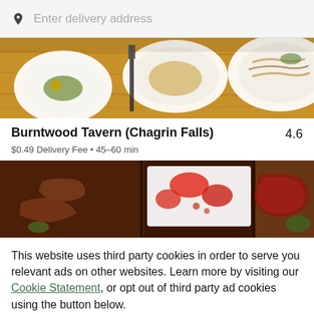Enter delivery address
[Figure (photo): Top-down view of restaurant dishes on wooden table with plates and a knife]
Burntwood Tavern (Chagrin Falls)
4.6
$0.49 Delivery Fee • 45–60 min
[Figure (photo): Top-down view of food dishes on dark wooden boards including meat and salads]
This website uses third party cookies in order to serve you relevant ads on other websites. Learn more by visiting our Cookie Statement, or opt out of third party ad cookies using the button below.
OPT OUT
GOT IT